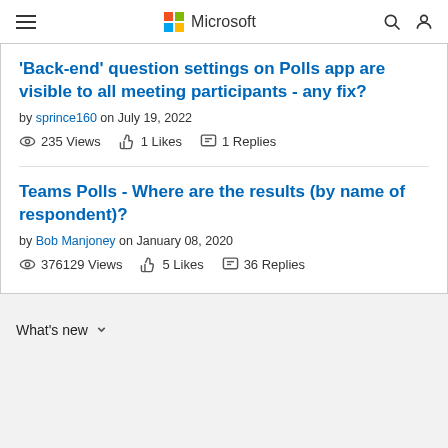Microsoft
'Back-end' question settings on Polls app are visible to all meeting participants - any fix?
by sprince160 on July 19, 2022
235 Views  1 Likes  1 Replies
Teams Polls - Where are the results (by name of respondent)?
by Bob Manjoney on January 08, 2020
376129 Views  5 Likes  36 Replies
What's new